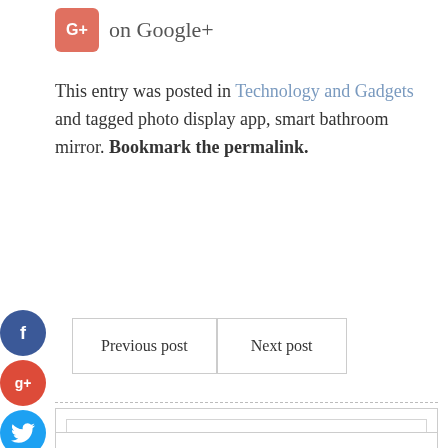[Figure (logo): Google+ logo icon, salmon/pink rounded square with G+ text]
on Google+
This entry was posted in Technology and Gadgets and tagged photo display app, smart bathroom mirror. Bookmark the permalink.
Previous post
Next post
[Figure (infographic): Social share icons on left side: Facebook (dark blue circle with f), Google+ (red circle with g+), Twitter (light blue circle with bird), More (dark blue circle with +)]
Search …